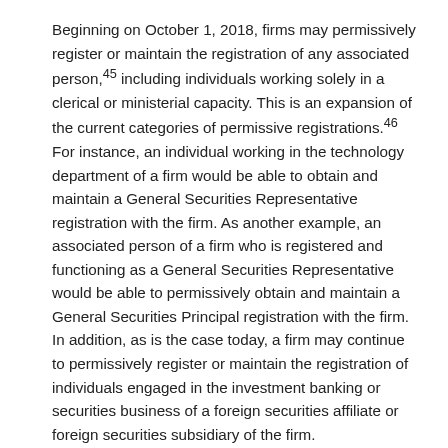Beginning on October 1, 2018, firms may permissively register or maintain the registration of any associated person,45 including individuals working solely in a clerical or ministerial capacity. This is an expansion of the current categories of permissive registrations.46 For instance, an individual working in the technology department of a firm would be able to obtain and maintain a General Securities Representative registration with the firm. As another example, an associated person of a firm who is registered and functioning as a General Securities Representative would be able to permissively obtain and maintain a General Securities Principal registration with the firm. In addition, as is the case today, a firm may continue to permissively register or maintain the registration of individuals engaged in the investment banking or securities business of a foreign securities affiliate or foreign securities subsidiary of the firm.